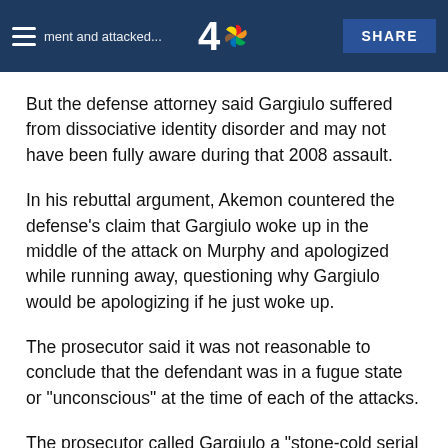argument and attacked... [NBC 4 logo] SHARE
But the defense attorney said Gargiulo suffered from dissociative identity disorder and may not have been fully aware during that 2008 assault.
In his rebuttal argument, Akemon countered the defense's claim that Gargiulo woke up in the middle of the attack on Murphy and apologized while running away, questioning why Gargiulo would be apologizing if he just woke up.
The prosecutor said it was not reasonable to conclude that the defendant was in a fugue state or "unconscious" at the time of each of the attacks.
The prosecutor called Gargiulo a "stone-cold serial killer